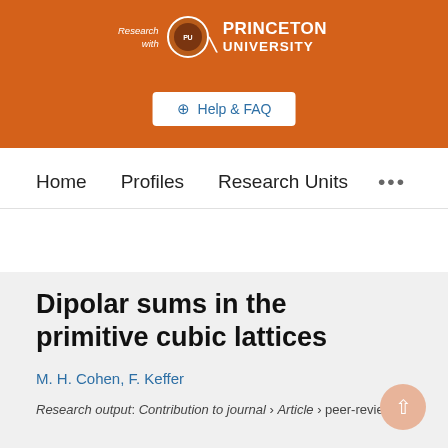[Figure (logo): Princeton University 'Research with' logo on orange header background]
⊕ Help & FAQ
Home   Profiles   Research Units   •••
Search
Dipolar sums in the primitive cubic lattices
M. H. Cohen, F. Keffer
Research output: Contribution to journal › Article › peer-review